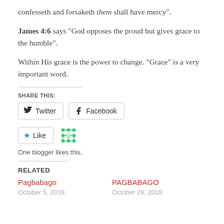confesseth and forsaketh them shall have mercy”.
James 4:6 says “God opposes the proud but gives grace to the humble”.
Within His grace is the power to change. “Grace” is a very important word.
SHARE THIS:
Twitter  Facebook
Like  [blogger icon]  One blogger likes this.
RELATED
Pagbabago
October 5, 2018
PAGBABAGO
October 29, 2018